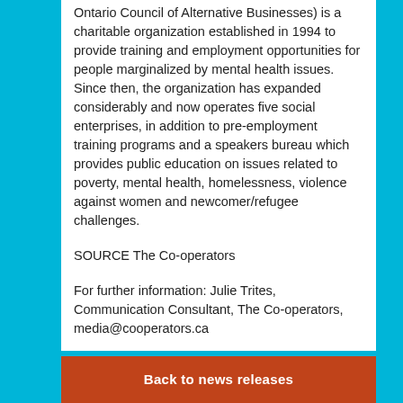Ontario Council of Alternative Businesses) is a charitable organization established in 1994 to provide training and employment opportunities for people marginalized by mental health issues. Since then, the organization has expanded considerably and now operates five social enterprises, in addition to pre-employment training programs and a speakers bureau which provides public education on issues related to poverty, mental health, homelessness, violence against women and newcomer/refugee challenges.
SOURCE The Co-operators
For further information: Julie Trites, Communication Consultant, The Co-operators, media@cooperators.ca
Back to news releases